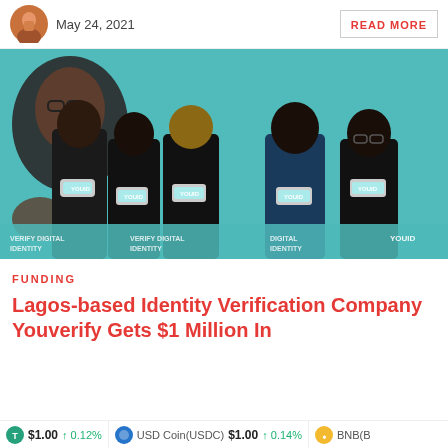May 24, 2021 | READ MORE
[Figure (photo): Five people wearing black t-shirts with 'YOUID' logo holding smartphones toward camera, standing in front of a teal branded backdrop with 'VERIFY DIGITAL IDENTITY' text.]
FUNDING
Lagos-based Identity Verification Company Youverify Gets $1 Million In
T) $1.00 ↑ 0.12% | USD Coin(USDC) $1.00 ↑ 0.14% | BNB(B